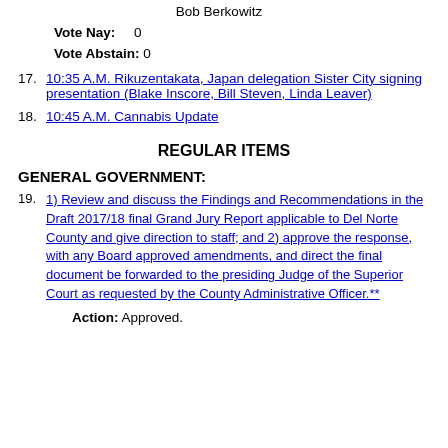Bob Berkowitz
Vote Nay: 0
Vote Abstain: 0
17. 10:35 A.M. Rikuzentakata, Japan delegation Sister City signing presentation (Blake Inscore, Bill Steven, Linda Leaver)
18. 10:45 A.M. Cannabis Update
REGULAR ITEMS
GENERAL GOVERNMENT:
19. 1) Review and discuss the Findings and Recommendations in the Draft 2017/18 final Grand Jury Report applicable to Del Norte County and give direction to staff; and 2) approve the response, with any Board approved amendments, and direct the final document be forwarded to the presiding Judge of the Superior Court as requested by the County Administrative Officer.**
Action: Approved.